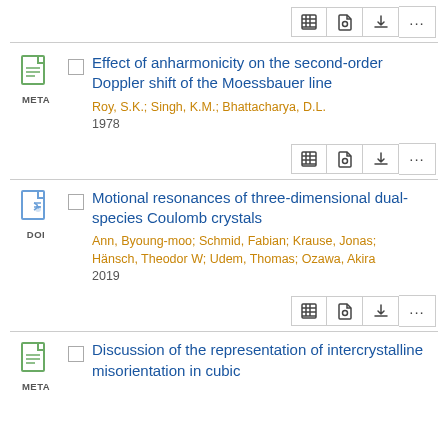[Figure (other): Toolbar with table, tag, download, and more icons]
Effect of anharmonicity on the second-order Doppler shift of the Moessbauer line
Roy, S.K.; Singh, K.M.; Bhattacharya, D.L.
1978
[Figure (other): Toolbar with table, tag, download, and more icons]
Motional resonances of three-dimensional dual-species Coulomb crystals
Ann, Byoung-moo; Schmid, Fabian; Krause, Jonas; Hänsch, Theodor W; Udem, Thomas; Ozawa, Akira
2019
[Figure (other): Toolbar with table, tag, download, and more icons]
Discussion of the representation of intercrystalline misorientation in cubic